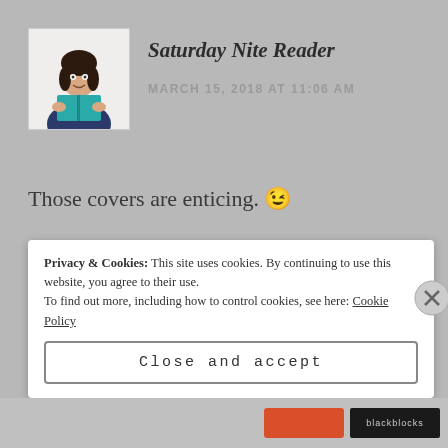[Figure (illustration): Avatar illustration of a woman with dark hair reading a teal book, wearing a dark blue outfit, on white background]
Saturday Nite Reader
MARCH 15, 2018 AT 11:06 AM
Those covers are enticing. 😉
★ Liked by 1 person
Reply
Privacy & Cookies: This site uses cookies. By continuing to use this website, you agree to their use. To find out more, including how to control cookies, see here: Cookie Policy
Close and accept